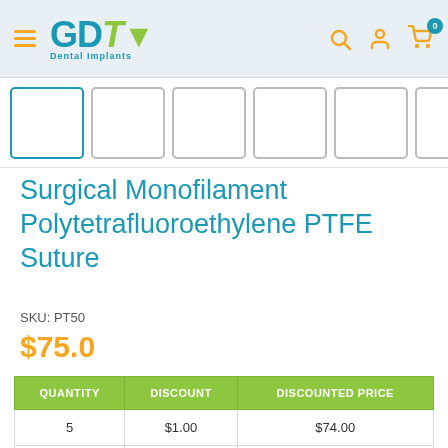GDT Dental Implants
[Figure (screenshot): Product image thumbnails row showing 6 image placeholder boxes with teal/grey borders]
Surgical Monofilament Polytetrafluoroethylene PTFE Suture
SKU: PT50
$75.0
| QUANTITY | DISCOUNT | DISCOUNTED PRICE |
| --- | --- | --- |
| 5 | $1.00 | $74.00 |
| 10 | $2.00 | $73.00 |